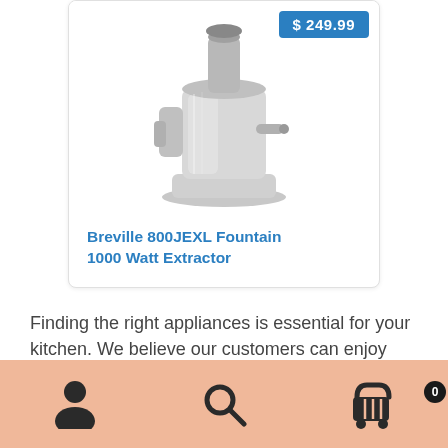[Figure (photo): Product card showing a Breville juicer/extractor appliance with price badge of $249.99 and a silver metallic juicer image]
Breville 800JEXL Fountain 1000 Watt Extractor
Finding the right appliances is essential for your kitchen. We believe our customers can enjoy their life with great gadget. So, we offer selections of Slow Cookers, Rice Cookers, Deep Fryers, Microwave Ovens, Blenders, Juicers, Toasters, and Food Processors. We've organized our small appliances into easily searchable
[Figure (infographic): Bottom navigation bar with peach/salmon background showing three icons: user/person icon, search/magnifying glass icon, and shopping cart icon with badge showing 0]